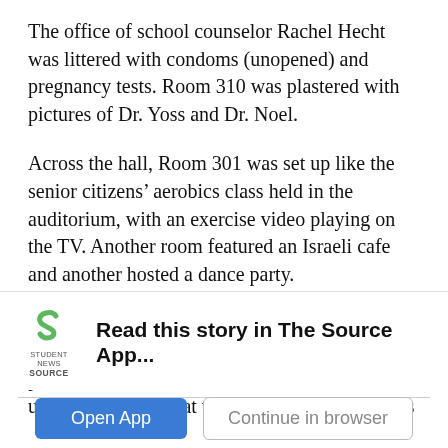The office of school counselor Rachel Hecht was littered with condoms (unopened) and pregnancy tests. Room 310 was plastered with pictures of Dr. Yoss and Dr. Noel.
Across the hall, Room 301 was set up like the senior citizens' aerobics class held in the auditorium, with an exercise video playing on the TV. Another room featured an Israeli cafe and another hosted a dance party.
Room 303 was dedicated to faculty that have left Shalhevet over the years. Most had their pictures up on the wall, but at the center of the room was a
[Figure (logo): Student News Source app logo — green stylized 'S' icon above text reading 'STUDENT NEWS SOURCE']
Read this story in The Source App...
Open App | Continue in browser